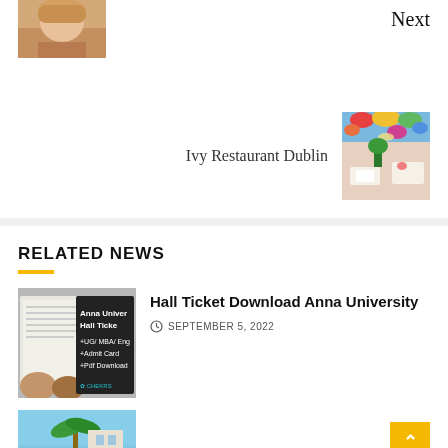[Figure (photo): Small thumbnail of a blonde woman, top of page (previous article image)]
Next
Ivy Restaurant Dublin
[Figure (photo): Thumbnail of Ivy Restaurant Dublin interior with colorful ceiling and dining tables]
RELATED NEWS
[Figure (photo): Hall Ticket Download Anna University - book with text overlay showing UG/MBA/Engg, Admit Card, Pdf Download, CHEKRS]
Hall Ticket Download Anna University
SEPTEMBER 5, 2022
[Figure (photo): Partial thumbnail of a tropical/outdoor scene at bottom of page]